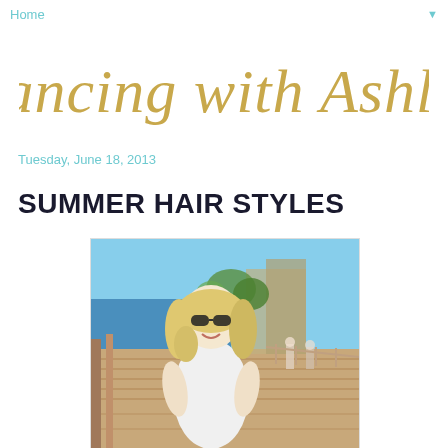Home ▼
Dancing with Ashley
Tuesday, June 18, 2013
SUMMER HAIR STYLES
[Figure (photo): Blonde woman wearing sunglasses and a white dress standing on a waterfront boardwalk/pier on a sunny day, with marina and boats visible in background.]